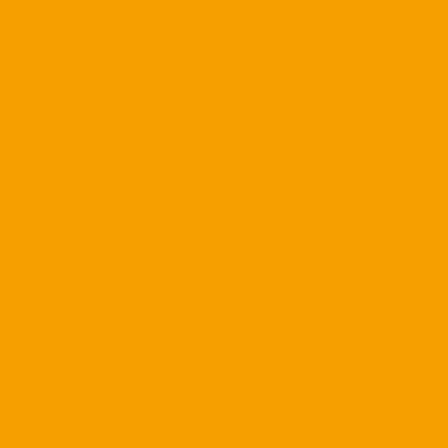[Figure (illustration): Snowflake pattern avatar icon (grey/blue geometric star)]
Gin....I totally agree. We cou... Only feel a moderate degree...
Posted by: Tonycane | November 1
[Figure (illustration): Snowflake pattern avatar icon (grey/blue geometric star)]
Watched part of the Notre Da... struck by how much positive displayed...and Instarted co... 2009 and 2010...no emotion,... times. Was Randy that again... edict?
Posted by: Tonycane | November 1
[Figure (illustration): Teal/green grid pattern avatar icon]
Let The Herb talk about Rich... hammy issue since August a... tough. In watching him at UN... seems to be rounding his rou... is not the most accurate pass... doesn't help. Cager seems to... back earlier. We have plenty... done. It seems for the last se... WR we get 2 good years out...